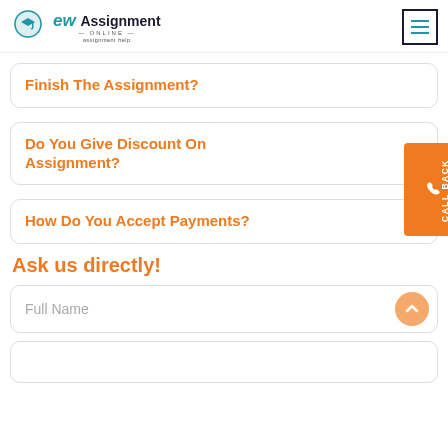New Assignment Online — assignment help
Finish The Assignment?
Do You Give Discount On Assignment?
How Do You Accept Payments?
Ask us directly!
Full Name